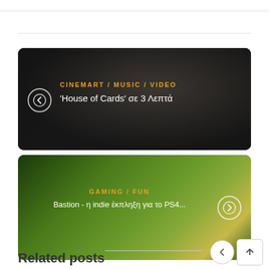[Figure (screenshot): Navigation card with dark background showing a man in suit, titled CINEMART / MUSIC / VIDEO with subtitle 'House of Cards' σε 3 Λεπτά, with a back arrow button on the left]
[Figure (screenshot): Navigation card with gaming green background, titled GAMING / FUN with subtitle 'Bastion - η indie έκπληξη για το PS4...', with a forward arrow button on the right]
Related posts